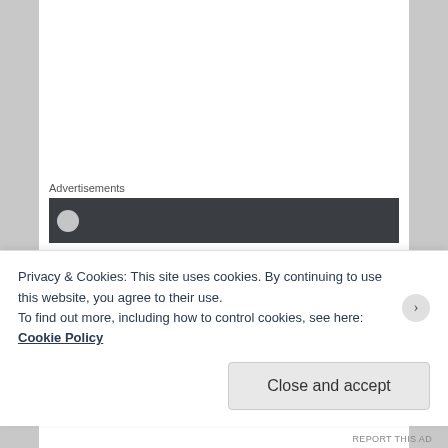Advertisements
[Figure (other): Dark advertisement banner with a circular icon on the left]
So Rocky has a party printed on the ballot but the American Delta Party has no website and no platform. Since the two most common brands of toilets are the Delta and the American Standard, I kind of suspect he named his “party” after toilets.
Rocky is the sort of candidate who whines incessantly
Privacy & Cookies: This site uses cookies. By continuing to use this website, you agree to their use.
To find out more, including how to control cookies, see here: Cookie Policy
Close and accept
REPORT THIS AD